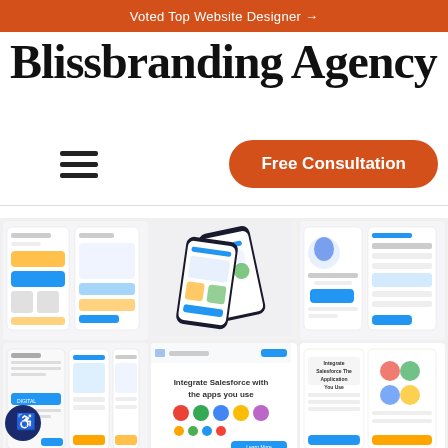Voted Top Website Designer →
Blissbranding Agency
[Figure (screenshot): Hamburger menu icon (three horizontal lines)]
[Figure (screenshot): Orange rounded button labeled 'Free Consultation']
[Figure (screenshot): Portfolio grid showing 6 app/website design mockups including mobile app UIs, Salesforce integrations, and web design screens]